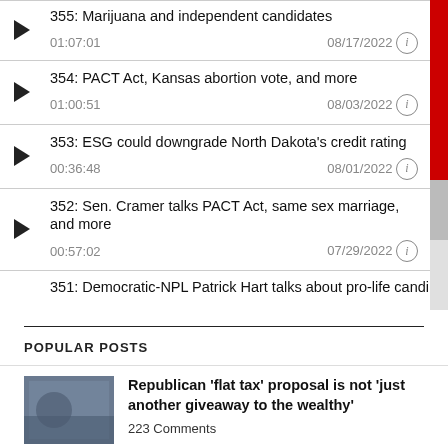355: Marijuana and independent candidates | 01:07:01 | 08/17/2022
354: PACT Act, Kansas abortion vote, and more | 01:00:51 | 08/03/2022
353: ESG could downgrade North Dakota's credit rating | 00:36:48 | 08/01/2022
352: Sen. Cramer talks PACT Act, same sex marriage, and more | 00:57:02 | 07/29/2022
351: Democratic-NPL Patrick Hart talks about pro-life candidate co
POPULAR POSTS
Republican ‘flat tax’ proposal is not ‘just another giveaway to the wealthy’
223 Comments
State lawmaker demands I turn over any information on surveillance devices I may have planted on him